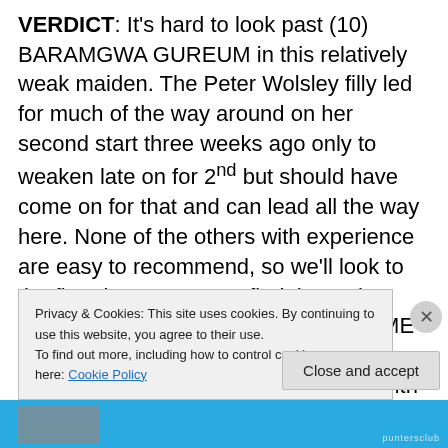VERDICT: It's hard to look past (10) BARAMGWA GUREUM in this relatively weak maiden. The Peter Wolsley filly led for much of the way around on her second start three weeks ago only to weaken late on for 2nd but should have come on for that and can lead all the way here. None of the others with experience are easy to recommend, so we'll look to the first-time starters to find the main dangers. (5) BUNDANUIBYEOKNEOME didn't look out of place when trialling alongside experienced horses last month and should go well first-up while (6)
Privacy & Cookies: This site uses cookies. By continuing to use this website, you agree to their use. To find out more, including how to control cookies, see here: Cookie Policy